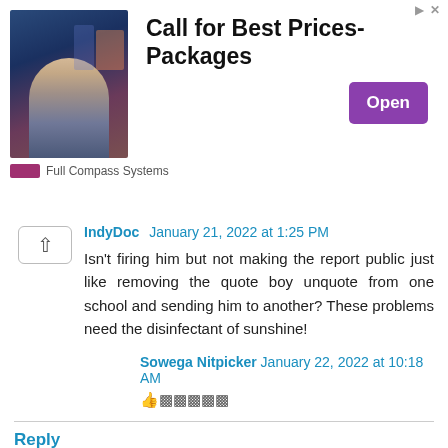[Figure (other): Advertisement banner: photo of a man in a studio, headline 'Call for Best Prices-Packages', Open button, Full Compass Systems logo]
IndyDoc January 21, 2022 at 1:25 PM
Isn't firing him but not making the report public just like removing the quote boy unquote from one school and sending him to another? These problems need the disinfectant of sunshine!
Sowega Nitpicker January 22, 2022 at 10:18 AM
👍 [thumbs up icons]
Reply
MrJuly January 21, 2022 at 8:25 AM
Don, I'm 72 years old and I can assure you the left has